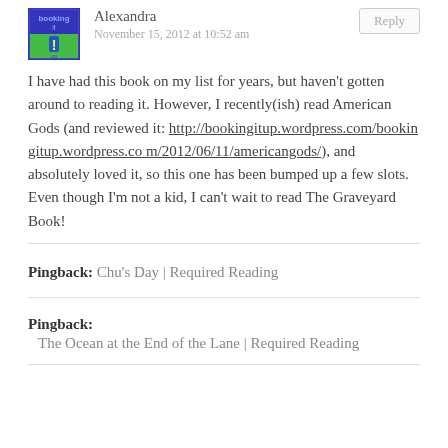[Figure (illustration): Book blog avatar image with blue/green cover and exclamation mark, labeled 'booking it up']
Alexandra
November 15, 2012 at 10:52 am
Reply
I have had this book on my list for years, but haven't gotten around to reading it. However, I recently(ish) read American Gods (and reviewed it: http://bookingitup.wordpress.com/bookingitup.wordpress.com/2012/06/11/americangods/), and absolutely loved it, so this one has been bumped up a few slots. Even though I'm not a kid, I can't wait to read The Graveyard Book!
Pingback: Chu's Day | Required Reading
Pingback: The Ocean at the End of the Lane | Required Reading